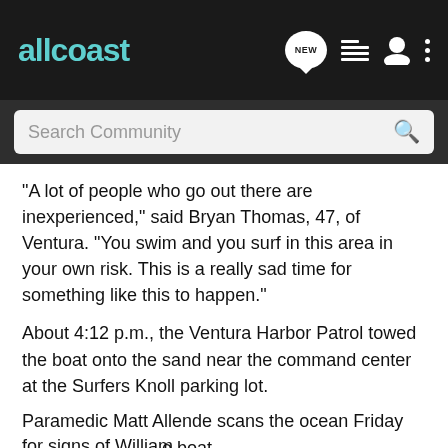allcoast
Search Community
"A lot of people who go out there are inexperienced," said Bryan Thomas, 47, of Ventura. "You swim and you surf in this area in your own risk. This is a really sad time for something like this to happen."
About 4:12 p.m., the Ventura Harbor Patrol towed the boat onto the sand near the command center at the Surfers Knoll parking lot.
Paramedic Matt Allende scans the ocean Friday for signs of William [obscured] e boat at right [obscured] e in it.
[Figure (photo): Photo of people at beach/ocean scene, partially obscured by advertisement overlay]
[Figure (infographic): Advertisement overlay: YOUR NEW FAVORITE SPORT - EXPLORE HOW TO RESPONSIBLY PARTICIPATE IN THE SHOOTING SPORTS. START HERE!]